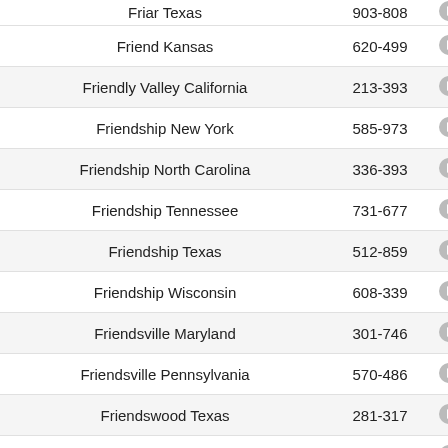| Location | Code |  |
| --- | --- | --- |
| Friar Texas | 903-808 |  |
| Friend Kansas | 620-499 |  |
| Friendly Valley California | 213-393 |  |
| Friendship New York | 585-973 |  |
| Friendship North Carolina | 336-393 |  |
| Friendship Tennessee | 731-677 |  |
| Friendship Texas | 512-859 |  |
| Friendship Wisconsin | 608-339 |  |
| Friendsville Maryland | 301-746 |  |
| Friendsville Pennsylvania | 570-486 |  |
| Friendswood Texas | 281-317 |  |
| Fries Virginia | 276-744 |  |
| Frio Town Texas | 830-334 |  |
| Frisco City Alabama | 251-267 |  |
| Frisco North Carolina | 252-955 |  |